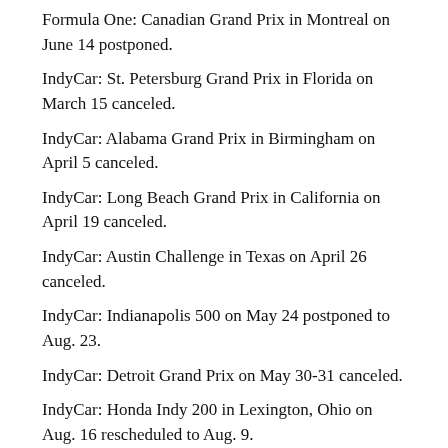Formula One: Canadian Grand Prix in Montreal on June 14 postponed.
IndyCar: St. Petersburg Grand Prix in Florida on March 15 canceled.
IndyCar: Alabama Grand Prix in Birmingham on April 5 canceled.
IndyCar: Long Beach Grand Prix in California on April 19 canceled.
IndyCar: Austin Challenge in Texas on April 26 canceled.
IndyCar: Indianapolis 500 on May 24 postponed to Aug. 23.
IndyCar: Detroit Grand Prix on May 30-31 canceled.
IndyCar: Honda Indy 200 in Lexington, Ohio on Aug. 16 rescheduled to Aug. 9.